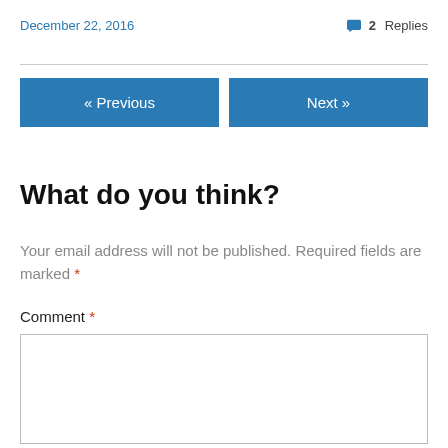December 22, 2016   💬 2 Replies
« Previous   Next »
What do you think?
Your email address will not be published. Required fields are marked *
Comment *